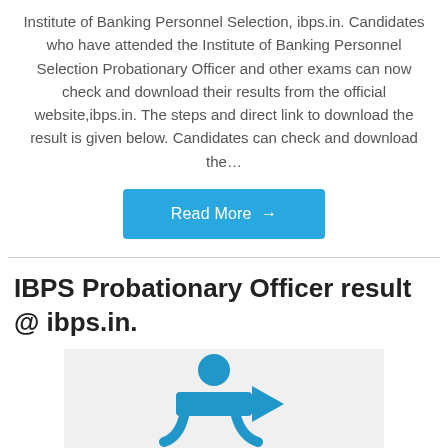Institute of Banking Personnel Selection, ibps.in. Candidates who have attended the Institute of Banking Personnel Selection Probationary Officer and other exams can now check and download their results from the official website,ibps.in. The steps and direct link to download the result is given below. Candidates can check and download the…
Read More →
IBPS Probationary Officer result @ ibps.in.
[Figure (logo): IBPS logo — blue circle and stylized person/arrow icon on light grey background]